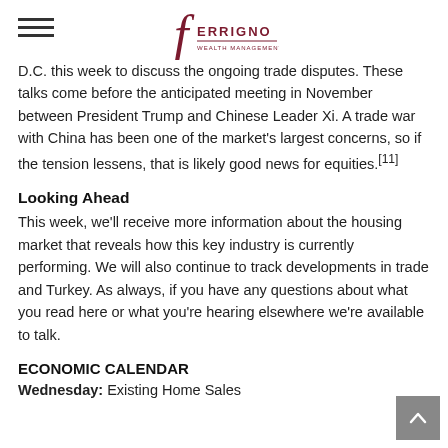Ferrigno [logo]
D.C. this week to discuss the ongoing trade disputes. These talks come before the anticipated meeting in November between President Trump and Chinese Leader Xi. A trade war with China has been one of the market's largest concerns, so if the tension lessens, that is likely good news for equities.[11]
Looking Ahead
This week, we'll receive more information about the housing market that reveals how this key industry is currently performing. We will also continue to track developments in trade and Turkey. As always, if you have any questions about what you read here or what you're hearing elsewhere we're available to talk.
ECONOMIC CALENDAR
Wednesday: Existing Home Sales